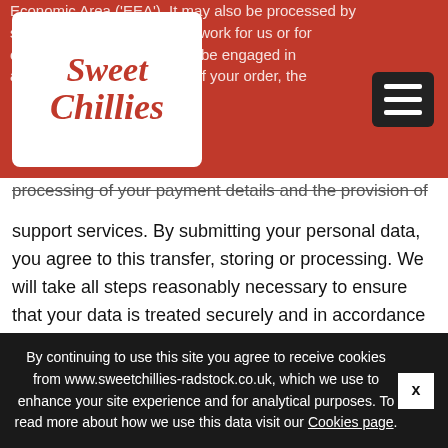[Figure (logo): Sweet Chillies logo: white rounded rectangle with red italic text reading 'Sweet Chillies']
Economic Area ('EEA'). It may also be processed by staff operating outside the EEA who work for us or for one of our suppliers. Such staff maybe engaged in, among other things, the fulfilment of your order, the processing of your payment details and the provision of support services. By submitting your personal data, you agree to this transfer, storing or processing. We will take all steps reasonably necessary to ensure that your data is treated securely and in accordance with this privacy policy.
Where we have given you (or where you have chosen) a password which enables you to access certain parts of our site, you are responsible for keeping this password
By continuing to use this site you agree to receive cookies from www.sweetchillies-radstock.co.uk, which we use to enhance your site experience and for analytical purposes. To read more about how we use this data visit our Cookies page.